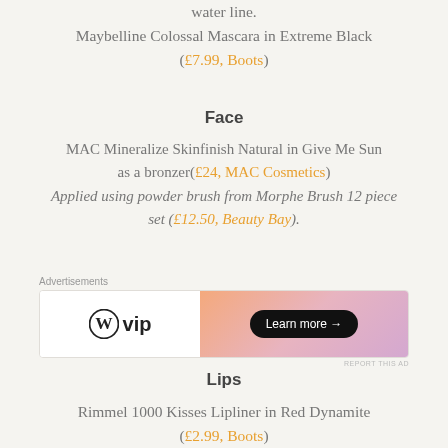water line.
Maybelline Colossal Mascara in Extreme Black (£7.99, Boots)
Face
MAC Mineralize Skinfinish Natural in Give Me Sun as a bronzer(£24, MAC Cosmetics) Applied using powder brush from Morphe Brush 12 piece set (£12.50, Beauty Bay).
[Figure (other): WordPress VIP advertisement banner with gradient orange-pink background and 'Learn more' button]
Lips
Rimmel 1000 Kisses Lipliner in Red Dynamite (£2.99, Boots)